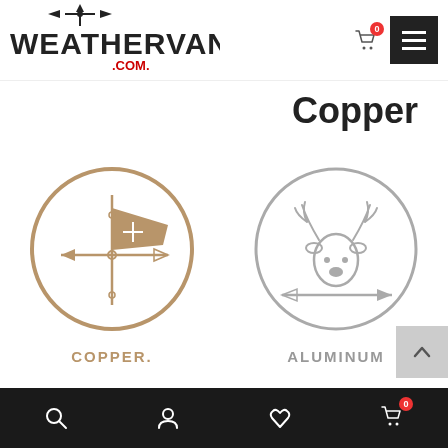[Figure (logo): Weathervanes.com logo with weathervane icon above text, .COM in red]
Copper
[Figure (illustration): Circular icon with copper weathervane flag design, labeled COPPER]
[Figure (illustration): Circular icon with aluminum deer head weathervane design, labeled ALUMINUM]
[Figure (illustration): Circular icon with vintage car weathervane design, partially visible]
[Figure (illustration): Circular icon with blue screw/bolt design, partially visible]